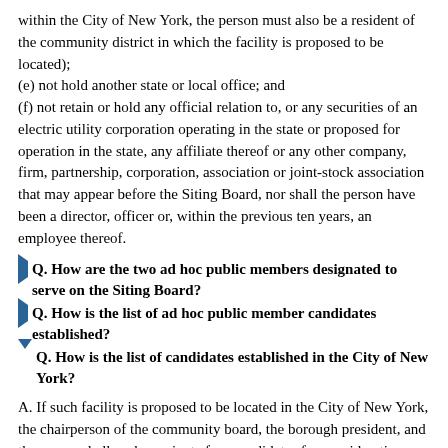within the City of New York, the person must also be a resident of the community district in which the facility is proposed to be located);
(e) not hold another state or local office; and
(f) not retain or hold any official relation to, or any securities of an electric utility corporation operating in the state or proposed for operation in the state, any affiliate thereof or any other company, firm, partnership, corporation, association or joint-stock association that may appear before the Siting Board, nor shall the person have been a director, officer or, within the previous ten years, an employee thereof.
Q. How are the two ad hoc public members designated to serve on the Siting Board?
Q. How is the list of ad hoc public member candidates established?
Q. How is the list of candidates established in the City of New York?
A. If such facility is proposed to be located in the City of New York, the chairperson of the community board, the borough president, and the mayor shall each nominate four candidates for consideration. The list of candidates is to be submitted to the President Pro Tem of the Senate or the Speaker of the Assembly within fifteen days of receipt of notification of the pre-application